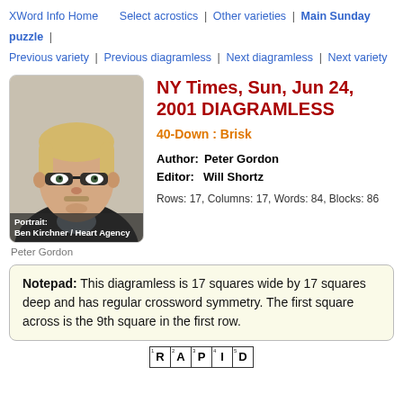XWord Info Home | Select acrostics | Other varieties | Main Sunday puzzle | Previous variety | Previous diagramless | Next diagramless | Next variety
NY Times, Sun, Jun 24, 2001 DIAGRAMLESS
40-Down : Brisk
Author: Peter Gordon
Editor: Will Shortz
Rows: 17, Columns: 17, Words: 84, Blocks: 86
[Figure (illustration): Illustrated portrait of Peter Gordon, a middle-aged man with blonde hair and glasses, wearing a dark jacket. Caption reads: Portrait: Ben Kirchner / Heart Agency]
Peter Gordon
Notepad: This diagramless is 17 squares wide by 17 squares deep and has regular crossword symmetry. The first square across is the 9th square in the first row.
[Figure (table-as-image): Partial crossword grid showing first row with letters R, A, P, I, D and numbered squares 1-5]